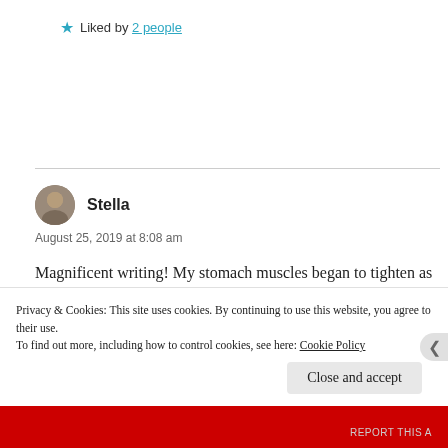★ Liked by 2 people
Stella
August 25, 2019 at 8:08 am
Magnificent writing! My stomach muscles began to tighten as I read and I held them tight until the send of this poem! I love it when that happens! Wonderful! :)
Privacy & Cookies: This site uses cookies. By continuing to use this website, you agree to their use.
To find out more, including how to control cookies, see here: Cookie Policy
Close and accept